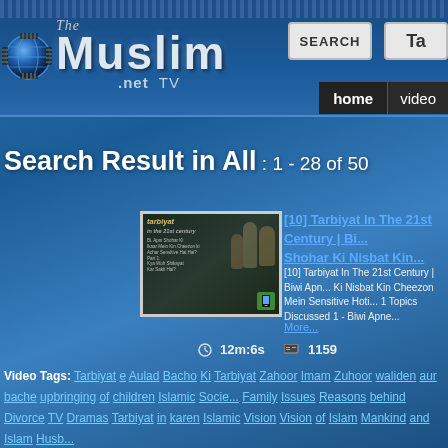[Figure (screenshot): TheMuslim.net TV website header with globe logo, Muslim text logo, Search button, home and video navigation links]
Search Result in All : 1 - 28 of 50
[Figure (screenshot): Video thumbnail for Tarbiyat In The 21st Century Biwi Apne Shohar Ki Nisbat Kin showing Islamic figures]
[10] Tarbiyat In The 21st Century | Biwi Apne Shohar Ki Nisbat Kin...
[10] Tarbiyat In The 21st Century | Biwi Apne Ki Nisbat Kin Cheezon Mein Sensitive Hoti... 1 Topics Discussed 1 - Biwi Apne...
More...
12m:6s  1159
Video Tags: Tarbiyat e Aulad Bacho Ki Tarbiyat Zahoor Imam Zuhoor waliden aur bache upbringing of children Islamic Socie... Family Issues Reasons behind Divorce TV Dramas Tarbiyat in karen Islamic Vision Vision of Islam Mankind and Islam Husb...